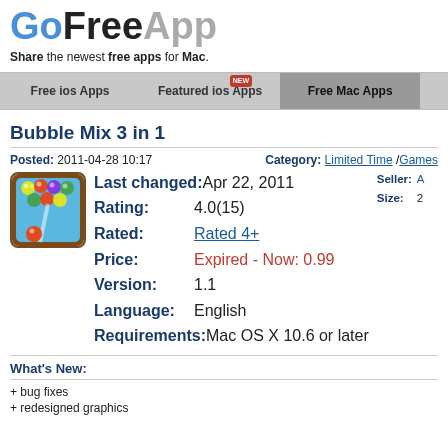GoFreeApp
Share the newest free apps for Mac.
Free ios Apps | Featured ios Apps NEW | Free Mac Apps
Bubble Mix 3 in 1
Posted: 2011-04-28 10:17   Category: Limited Time /Games
[Figure (illustration): Bubble Mix 3 in 1 app icon showing colorful bubbles on a blue background with a brown border]
| Last changed: | Apr 22, 2011 | Seller: | A |
| Rating: | 4.0(15) | Size: | 2 |
| Rated: | Rated 4+ |  |  |
| Price: | Expired - Now: 0.99 |  |  |
| Version: | 1.1 |  |  |
| Language: | English |  |  |
| Requirements: | Mac OS X 10.6 or later |  |  |
What's New:
+ bug fixes
+ redesigned graphics